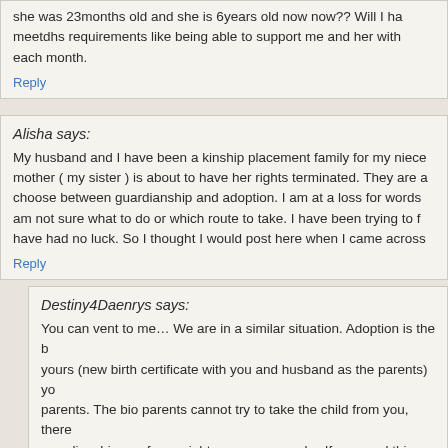she was 23months old and she is 6years old now now?? Will I ha meetdhs requirements like being able to support me and her with each month.
Reply
Alisha says:
My husband and I have been a kinship placement family for my niece mother ( my sister ) is about to have her rights terminated. They are a choose between guardianship and adoption. I am at a loss for words am not sure what to do or which route to take. I have been trying to f have had no luck. So I thought I would post here when I came across
Reply
Destiny4Daenrys says:
You can vent to me… We are in a similar situation. Adoption is the b yours (new birth certificate with you and husband as the parents) yo parents. The bio parents cannot try to take the child from you, there guardianships as far as rights are concerned… If you read this post FB page info, it's always nice to have someone to talk to…
Reply